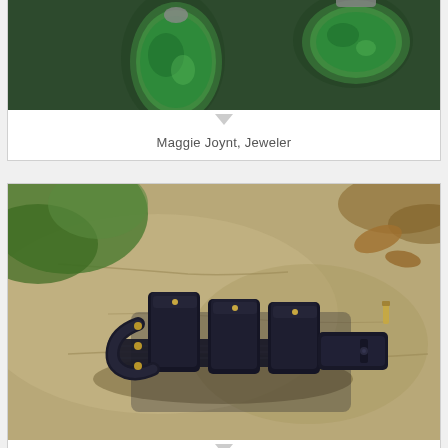[Figure (photo): Close-up photo of green stone jewelry (earrings) on a dark green background, partially cropped at top]
Maggie Joynt, Jeweler
[Figure (photo): Photo of a black leather multi-sheath belt accessory with metal rivets, displayed on a stone surface with leaves in background]
Marcus Cerrone, Metal Artist